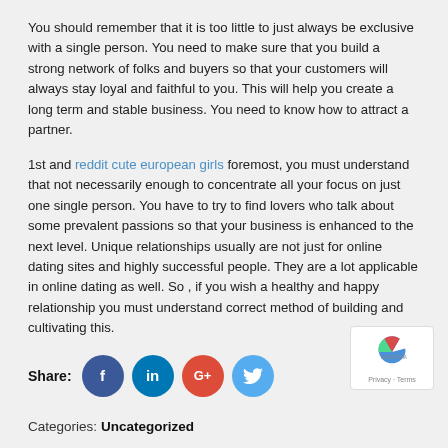You should remember that it is too little to just always be exclusive with a single person. You need to make sure that you build a strong network of folks and buyers so that your customers will always stay loyal and faithful to you. This will help you create a long term and stable business. You need to know how to attract a partner.
1st and reddit cute european girls foremost, you must understand that not necessarily enough to concentrate all your focus on just one single person. You have to try to find lovers who talk about some prevalent passions so that your business is enhanced to the next level. Unique relationships usually are not just for online dating sites and highly successful people. They are a lot applicable in online dating as well. So , if you wish a healthy and happy relationship you must understand correct method of building and cultivating this.
Share: [Facebook] [LinkedIn] [Google+] [Twitter]
Categories: Uncategorized